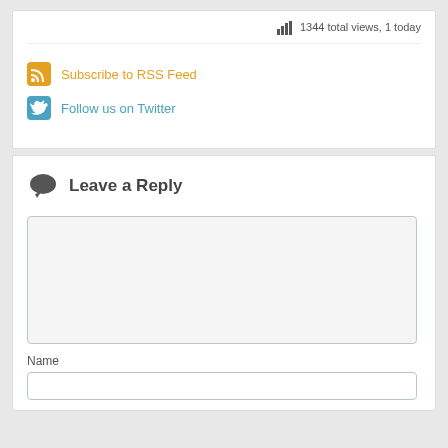1344 total views, 1 today
Subscribe to RSS Feed
Follow us on Twitter
Leave a Reply
Name